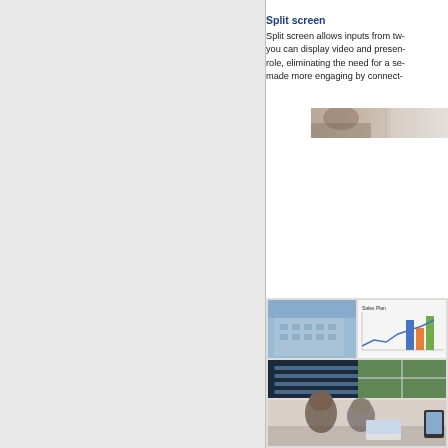Split screen
Split screen allows inputs from tw- you can display video and presen- role, eliminating the need for a se- made more engaging by connect-
[Figure (photo): Partial view of a photo showing a person or scene, cropped at the right edge of the page]
[Figure (photo): Two people at a desk looking at a display showing a split screen with building images, a sales plan chart with bar graphs, a map, and interactive content on a monitor. A tablet is visible on the right.]